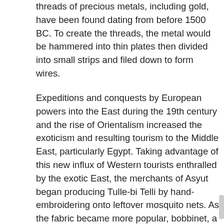threads of precious metals, including gold, have been found dating from before 1500 BC. To create the threads, the metal would be hammered into thin plates then divided into small strips and filed down to form wires.
Expeditions and conquests by European powers into the East during the 19th century and the rise of Orientalism increased the exoticism and resulting tourism to the Middle East, particularly Egypt. Taking advantage of this new influx of Western tourists enthralled by the exotic East, the merchants of Asyut began producing Tulle-bi Telli by hand-embroidering onto leftover mosquito nets. As the fabric became more popular, bobbinet, a Victorian invention, were used instead.
The net-like textile that marries cotton or linen mesh with small strips of metal is still produced in Egypt today but has moved from its namesake of Asyut to the city of Suhag. The textile is mainly exported to tourist shops in popular cities such as Cairo and Alexandria and is used for popular items such as belly-dancing costumes.